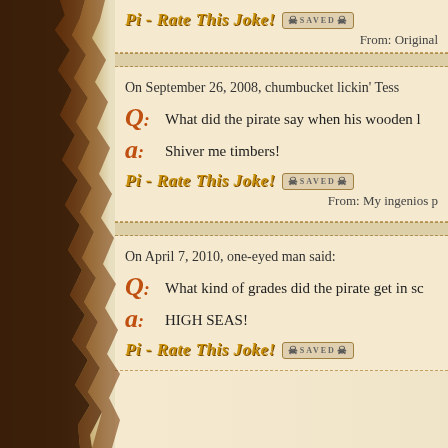Pi - Rate This Joke! SAVED
From: Original
On September 26, 2008, chumbucket lickin' Tess
Q: What did the pirate say when his wooden l
A: Shiver me timbers!
Pi - Rate This Joke! SAVED
From: My ingenios p
On April 7, 2010, one-eyed man said:
Q: What kind of grades did the pirate get in sc
A: HIGH SEAS!
Pi - Rate This Joke! SAVED